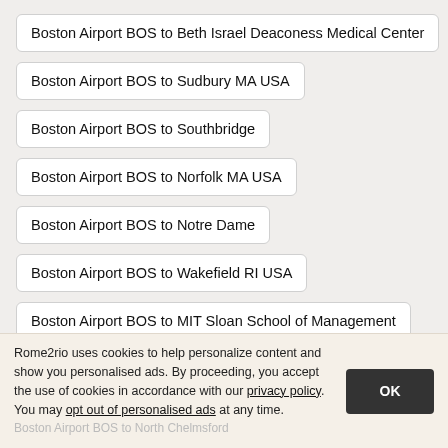Boston Airport BOS to Beth Israel Deaconess Medical Center
Boston Airport BOS to Sudbury MA USA
Boston Airport BOS to Southbridge
Boston Airport BOS to Norfolk MA USA
Boston Airport BOS to Notre Dame
Boston Airport BOS to Wakefield RI USA
Boston Airport BOS to MIT Sloan School of Management
Boston Airport BOS to Vernon CT USA
Boston Airport BOS to Beachmont Station
Rome2rio uses cookies to help personalize content and show you personalised ads. By proceeding, you accept the use of cookies in accordance with our privacy policy. You may opt out of personalised ads at any time.
Boston Airport BOS to North Chelmsford